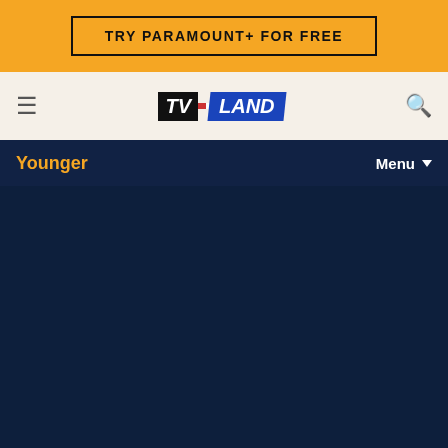[Figure (screenshot): Orange banner with 'TRY PARAMOUNT+ FOR FREE' button]
[Figure (logo): TV Land logo with hamburger menu and search icon on light beige navigation bar]
Younger
Menu
[Figure (photo): Dark navy blue hero image area for the TV show Younger]
YOUNGER
Getting Younger - The